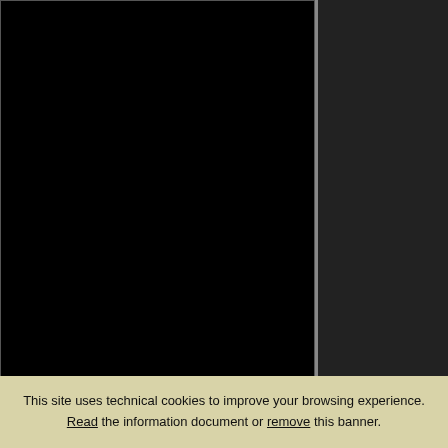[Figure (photo): Black image area representing a photo of a rugby match (Italia vs Galles)]
5426
05.02.2017 Italia vs Galles 7-33 RBS Six Nations. G.Leanza Ph
[Figure (photo): Second black image card partially visible at bottom]
This site uses technical cookies to improve your browsing experience. Read the information document or remove this banner.